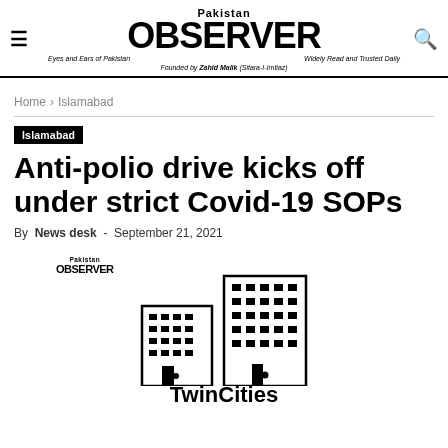Pakistan OBSERVER — Eyes and Ears of Pakistan | Widely Read and Trusted Daily | Founded by Zahid Malik (Sitara-I-Imtiaz)
Home › Islamabad
Islamabad
Anti-polio drive kicks off under strict Covid-19 SOPs
By News desk - September 21, 2021
[Figure (logo): Pakistan Observer TwinCities logo with building illustration]